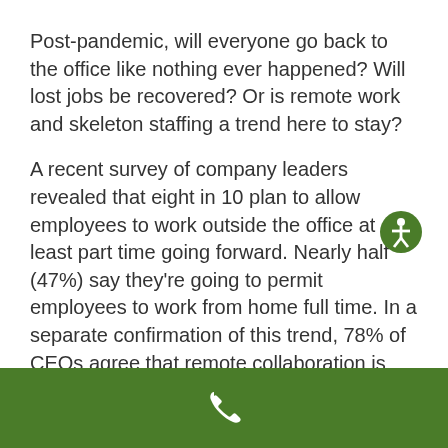Post-pandemic, will everyone go back to the office like nothing ever happened? Will lost jobs be recovered? Or is remote work and skeleton staffing a trend here to stay?
A recent survey of company leaders revealed that eight in 10 plan to allow employees to work outside the office at least part time going forward. Nearly half (47%) say they're going to permit employees to work from home full time. In a separate confirmation of this trend, 78% of CEOs agree that remote collaboration is here to stay.¹
[Figure (illustration): Green circular accessibility icon with a white person figure]
[Figure (illustration): White telephone handset icon on dark green footer bar]